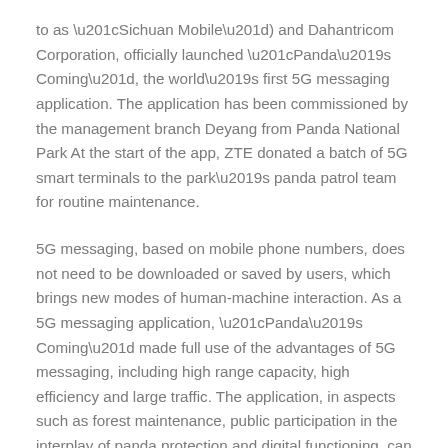to as “Sichuan Mobile”) and Dahantricom Corporation, officially launched “Panda’s Coming”, the world’s first 5G messaging application. The application has been commissioned by the management branch Deyang from Panda National Park At the start of the app, ZTE donated a batch of 5G smart terminals to the park’s panda patrol team for routine maintenance.
5G messaging, based on mobile phone numbers, does not need to be downloaded or saved by users, which brings new modes of human-machine interaction. As a 5G messaging application, “Panda’s Coming” made full use of the advantages of 5G messaging, including high range capacity, high efficiency and large traffic. The application, in aspects such as forest maintenance, public participation in the interplay of panda protection and digital functioning, can facilitate the protection of the biodiversity represented by pandas and the sustainable development of the habitat, bringing ecological protection and Chinese culture to the whole world.